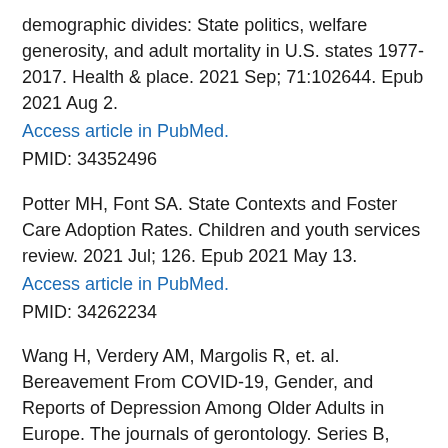demographic divides: State politics, welfare generosity, and adult mortality in U.S. states 1977-2017. Health & place. 2021 Sep; 71:102644. Epub 2021 Aug 2.
Access article in PubMed.
PMID: 34352496
Potter MH, Font SA. State Contexts and Foster Care Adoption Rates. Children and youth services review. 2021 Jul; 126. Epub 2021 May 13.
Access article in PubMed.
PMID: 34262234
Wang H, Verdery AM, Margolis R, et. al. Bereavement From COVID-19, Gender, and Reports of Depression Among Older Adults in Europe. The journals of gerontology. Series B, Psychological sciences and social sciences. 2022 Jul 5; 77(7):e142-e149.